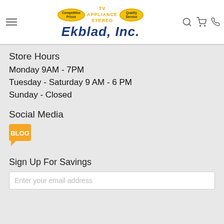[Figure (logo): Ekblad, Inc. logo with TV Appliance Stereo text and two badge ovals saying Competitive Prices and Quality Service]
Store Hours
Monday 9AM - 7PM
Tuesday - Saturday 9 AM - 6 PM
Sunday - Closed
Social Media
[Figure (other): Orange speech-bubble blog icon with text BLOG]
Sign Up For Savings
Enter your email address